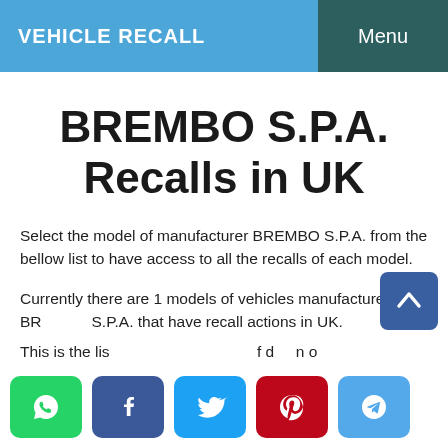VEHICLE RECALL   Menu
BREMBO S.P.A. Recalls in UK
Select the model of manufacturer BREMBO S.P.A. from the bellow list to have access to all the recalls of each model.
Currently there are 1 models of vehicles manufactured by BREMBO S.P.A. that have recall actions in UK.
This is the list of recalled models of BREMBO S.P.A. in UK.
[Figure (other): Social share buttons: WhatsApp, Facebook, Twitter, Pinterest, Telegram. Also a scroll-to-top button (blue arrow up icon).]